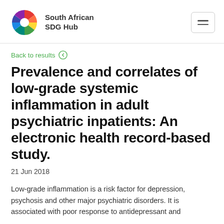[Figure (logo): South African SDG Hub logo with colorful circular fan/wheel icon and text 'South African SDG Hub']
Back to results
Prevalence and correlates of low-grade systemic inflammation in adult psychiatric inpatients: An electronic health record-based study.
21 Jun 2018
Low-grade inflammation is a risk factor for depression, psychosis and other major psychiatric disorders. It is associated with poor response to antidepressant and